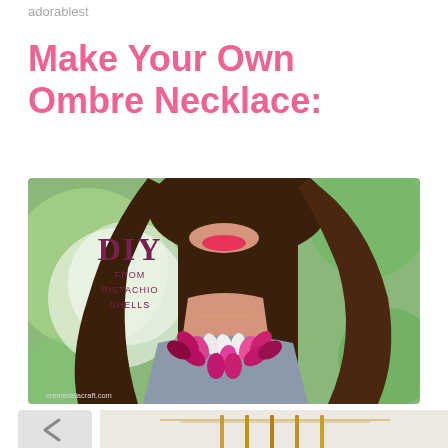adorablest
Make Your Own Ombre Necklace:
[Figure (photo): DIY ombre necklace made from pistachio shells. A woman wearing a gray tank top and a large pink ombre floral necklace made from painted pistachio shells. Text overlay reads 'DIY FROM PISTACHIO SHELLS'. Website credit: cremedelacraft.com]
[Figure (photo): Bottom portion of another craft photo showing a gold chain necklace against a light background, partially visible.]